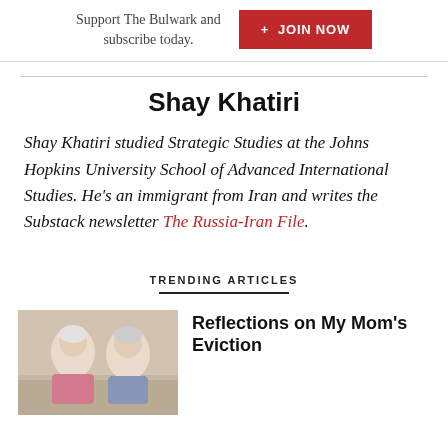Support The Bulwark and subscribe today.
+ JOIN NOW
Shay Khatiri
Shay Khatiri studied Strategic Studies at the Johns Hopkins University School of Advanced International Studies. He's an immigrant from Iran and writes the Substack newsletter The Russia-Iran File.
TRENDING ARTICLES
[Figure (photo): Two elderly women, one in a pink top, seated together in what appears to be a living room or care setting.]
Reflections on My Mom's Eviction